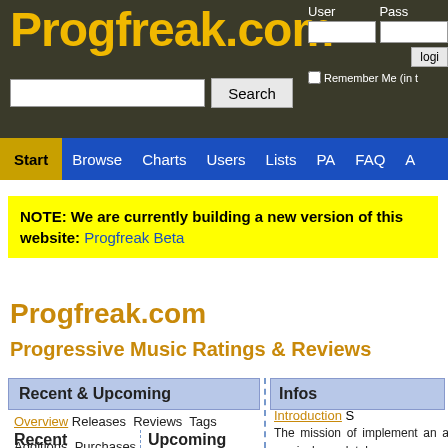Progfreak.com
User  Pass
login  Remember Me (in t
Start  Browse  Charts  Users  Lists  PA  FAQ  A
NOTE: We are currently building a new version of this website: Progfreak Beta
Progfreak.com
Progressive Music Ratings & Reviews
Recent & Upcoming
Overview  Releases  Reviews  Tags  Additions  Purchases
Infos
Introduction S
Recent Releases
Upcoming Releases
The mission of implement an a musical database range between sophisticated way